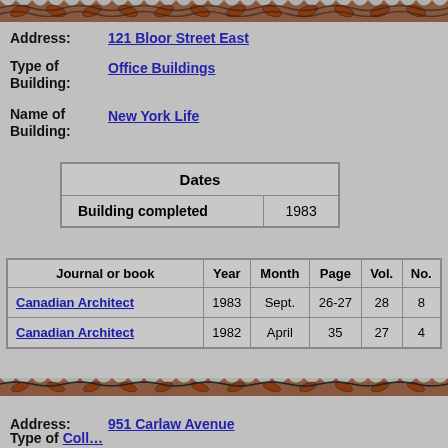decorative border
Address: 121 Bloor Street East
Type of Building: Office Buildings
Name of Building: New York Life
| Dates |
| --- |
| Building completed | 1983 |
| Journal or book | Year | Month | Page | Vol. | No. |
| --- | --- | --- | --- | --- | --- |
| Canadian Architect | 1983 | Sept. | 26-27 | 28 | 8 |
| Canadian Architect | 1982 | April | 35 | 27 | 4 |
decorative border
Address: 951 Carlaw Avenue